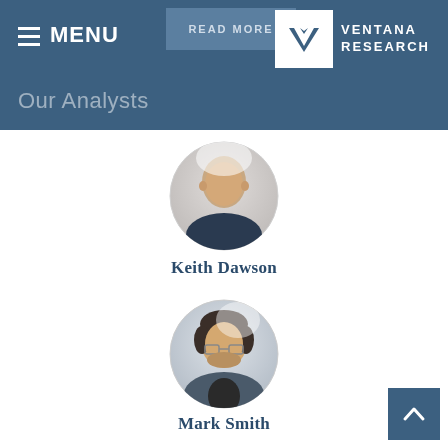MENU
READ MORE
[Figure (logo): Ventana Research logo: white V-shape in white box, with VENTANA RESEARCH text in white on blue background]
Our Analysts
[Figure (photo): Circular headshot of Keith Dawson, bald older man in dark shirt]
Keith Dawson
[Figure (photo): Circular headshot of Mark Smith, man with dark hair and glasses wearing a blazer]
Mark Smith
[Figure (photo): Circular headshot of a third analyst, partially visible at bottom of page]
Back to top button